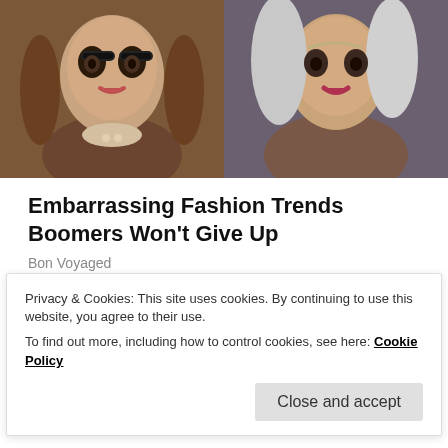[Figure (photo): Two photos side by side: left shows a woman with dark hair, glasses, red lipstick and pearl necklace; right shows a woman with silver/grey hair and red lipstick.]
Embarrassing Fashion Trends Boomers Won't Give Up
Bon Voyaged
Share this:
Privacy & Cookies: This site uses cookies. By continuing to use this website, you agree to their use.
To find out more, including how to control cookies, see here: Cookie Policy